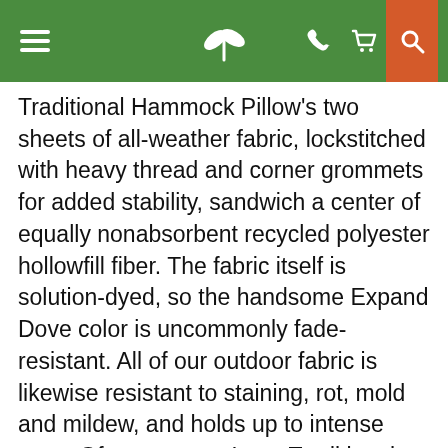[Navigation bar with hamburger menu, leaf logo, phone, cart, and search icons]
Traditional Hammock Pillow's two sheets of all-weather fabric, lockstitched with heavy thread and corner grommets for added stability, sandwich a center of equally nonabsorbent recycled polyester hollowfill fiber. The fabric itself is solution-dyed, so the handsome Expand Dove color is uncommonly fade-resistant. All of our outdoor fabric is likewise resistant to staining, rot, mold and mildew, and holds up to intense wear. Of course, our Long Traditional Hammock Pillow would hardly be our most popular hammock accessory if all it had going for it was heightened durability -- an uncomfortable pillow that lasts and lasts is hardly something to get relaxed about! This cushiony pillow is firm